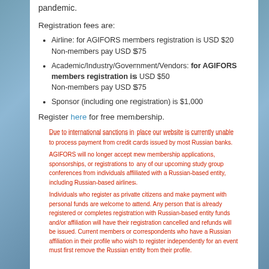pandemic.
Registration fees are:
Airline: for AGIFORS members registration is USD $20
Non-members pay USD $75
Academic/Industry/Government/Vendors: for AGIFORS members registration is USD $50
Non-members pay USD $75
Sponsor (including one registration) is $1,000
Register here for free membership.
Due to international sanctions in place our website is currently unable to process payment from credit cards issued by most Russian banks.
AGIFORS will no longer accept new membership applications, sponsorships, or registrations to any of our upcoming study group conferences from individuals affiliated with a Russian-based entity, including Russian-based airlines.
Individuals who register as private citizens and make payment with personal funds are welcome to attend. Any person that is already registered or completes registration with Russian-based entity funds and/or affiliation will have their registration cancelled and refunds will be issued. Current members or correspondents who have a Russian affiliation in their profile who wish to register independently for an event must first remove the Russian entity from their profile.